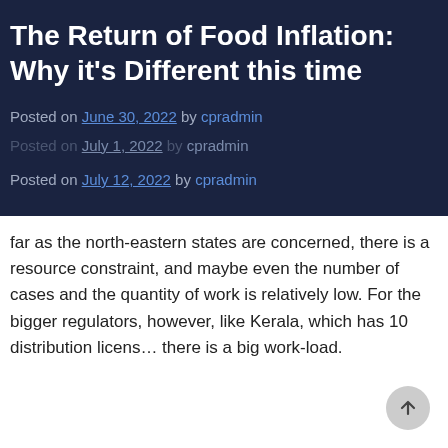The Return of Food Inflation: Why it's Different this time
Posted on June 30, 2022 by cpradmin
Posted on July 12, 2022 by cpradmin
far as the north-eastern states are concerned, there is a resource constraint, and maybe even the number of cases and the quantity of work is relatively low. For the bigger regulators, however, like Kerala, which has 10 distribution licens… there is a big work-load.